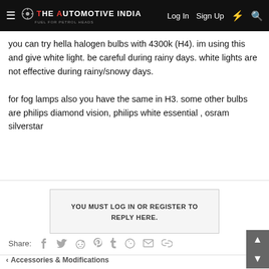The Automotive India — Log In   Sign Up
you can try hella halogen bulbs with 4300k (H4). im using this and give white light. be careful during rainy days. white lights are not effective during rainy/snowy days.
for fog lamps also you have the same in H3. some other bulbs are philips diamond vision, philips white essential , osram silverstar
YOU MUST LOG IN OR REGISTER TO REPLY HERE.
Share:
Accessories & Modifications
Forum software by XenForo™ © 2010-2018 XenForo Ltd.
The Automotive India   Contact   Terms   Privacy   Help   Home